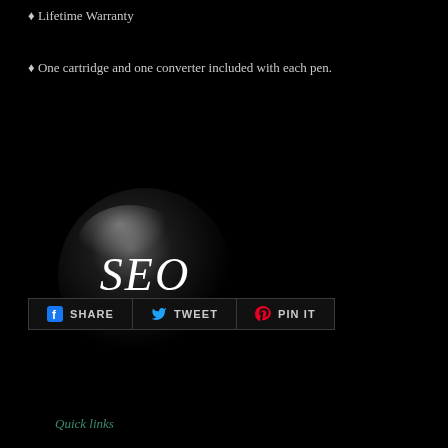• Lifetime Warranty
• One cartridge and one converter included with each pen.
[Figure (logo): Black circular button with italic white text SEO, with glossy 3D shading effect]
[Figure (infographic): Social sharing buttons row: SHARE (Facebook), TWEET (Twitter), PIN IT (Pinterest)]
Quick links